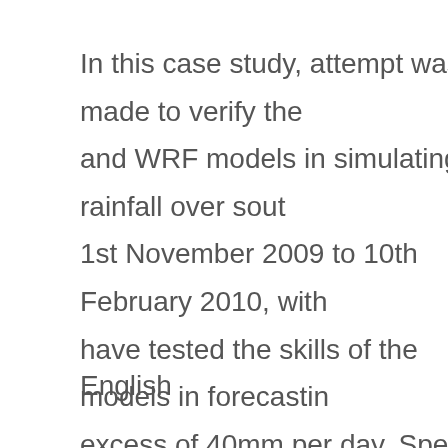In this case study, attempt was made to verify the and WRF models in simulating rainfall over south 1st November 2009 to 10th February 2010, with have tested the skills of the models in forecasting excess of 40mm per day. Special emphasis was occurred on the 3rd of February 2010 over Zamb atmospheric conditions prior and during the rainf both in analysis and forecasted fields. Over Southern Africa, all th ...
English